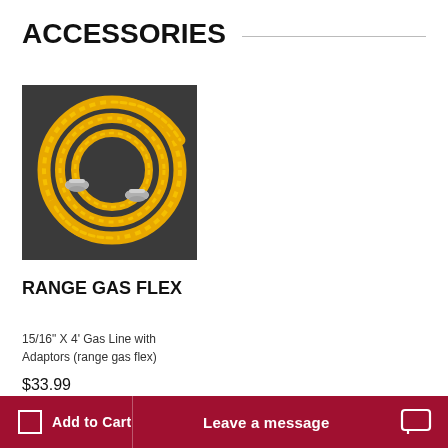ACCESSORIES
[Figure (photo): Yellow flexible gas line coiled in a circle with two silver metal fittings/adaptors displayed on a dark background.]
RANGE GAS FLEX
15/16" X 4' Gas Line with Adaptors (range gas flex)
$33.99
Add to Cart   Leave a message